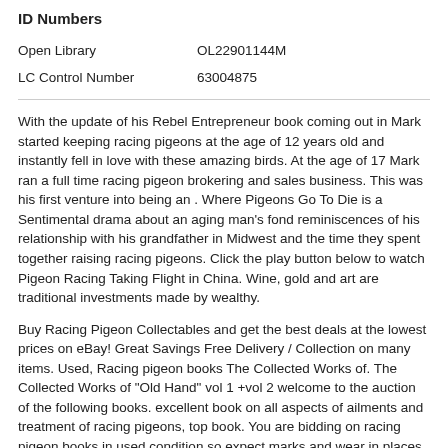ID Numbers
| Open Library | OL22901144M |
| LC Control Number | 63004875 |
With the update of his Rebel Entrepreneur book coming out in Mark started keeping racing pigeons at the age of 12 years old and instantly fell in love with these amazing birds. At the age of 17 Mark ran a full time racing pigeon brokering and sales business. This was his first venture into being an . Where Pigeons Go To Die is a Sentimental drama about an aging man's fond reminiscences of his relationship with his grandfather in Midwest and the time they spent together raising racing pigeons. Click the play button below to watch Pigeon Racing Taking Flight in China. Wine, gold and art are traditional investments made by wealthy.
Buy Racing Pigeon Collectables and get the best deals at the lowest prices on eBay! Great Savings Free Delivery / Collection on many items. Used, Racing pigeon books The Collected Works of. The Collected Works of "Old Hand" vol 1 +vol 2 welcome to the auction of the following books. excellent book on all aspects of ailments and treatment of racing pigeons, top book. You are bidding on racing pigeon books in used condition so expect marks and wear in places.
Read the ‘Pigeon’ Books Online (for Free!) Guess what? I did a little searching and found ALL of Mo Willem’s ‘pigeon’ books read online. Here is a my resource mix for the project, organized in this nifty